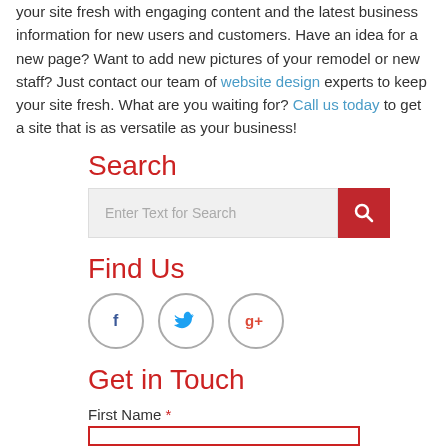your site fresh with engaging content and the latest business information for new users and customers. Have an idea for a new page? Want to add new pictures of your remodel or new staff? Just contact our team of website design experts to keep your site fresh. What are you waiting for? Call us today to get a site that is as versatile as your business!
Search
[Figure (screenshot): Search bar with text input placeholder 'Enter Text for Search' and a red search button with magnifier icon]
Find Us
[Figure (illustration): Three circular social media icons: Facebook (f), Twitter (bird), Google Plus (g+)]
Get in Touch
First Name *
[Figure (screenshot): Empty text input field with red border for First Name]